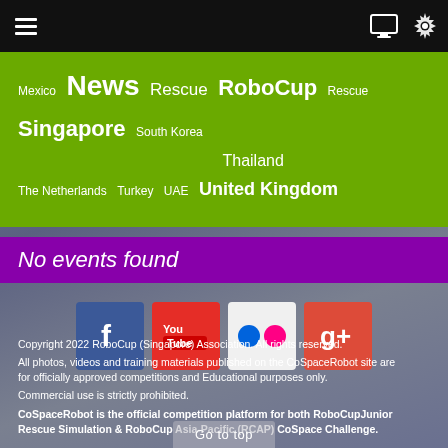Navigation bar with hamburger menu and icons
Mexico News Rescue RoboCup Rescue Singapore South Korea Thailand The Netherlands Turkey UAE United Kingdom
No events found
[Figure (other): Social media icons row: Facebook, YouTube, Flickr, Google+]
Copyright 2022 RoboCup (Singapore) Association. All rights reserved. All photos, videos and training materials published on the CoSpaceRobot site are for officially approved competitions and Educational purposes only. Commercial use is strictly prohibited. CoSpaceRobot is the official competition platform for both RoboCupJunior Rescue Simulation & RoboCup Asia-Pacific (RCAP) CoSpace Challenge.